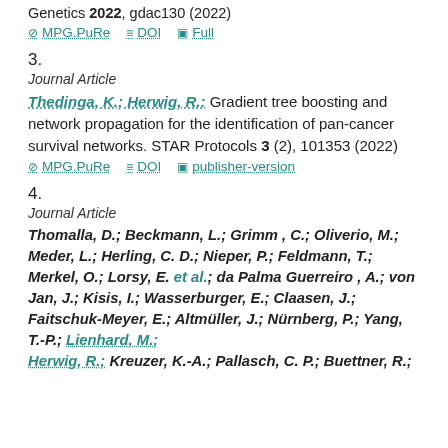Genetics 2022, gdac130 (2022)
MPG.PuRe  DOI  Full
3.
Journal Article
Thedinga, K.; Herwig, R.: Gradient tree boosting and network propagation for the identification of pan-cancer survival networks. STAR Protocols 3 (2), 101353 (2022)
MPG.PuRe  DOI  publisher-version
4.
Journal Article
Thomalla, D.; Beckmann, L.; Grimm , C.; Oliverio, M.; Meder, L.; Herling, C. D.; Nieper, P.; Feldmann, T.; Merkel, O.; Lorsy, E. et al.; da Palma Guerreiro , A.; von Jan, J.; Kisis, I.; Wasserburger, E.; Claasen, J.; Faitschuk-Meyer, E.; Altmüller, J.; Nürnberg, P.; Yang, T.-P.; Lienhard, M.; Herwig, R.; Kreuzer, K.-A.; Pallasch, C. P.; Buettner, R.;